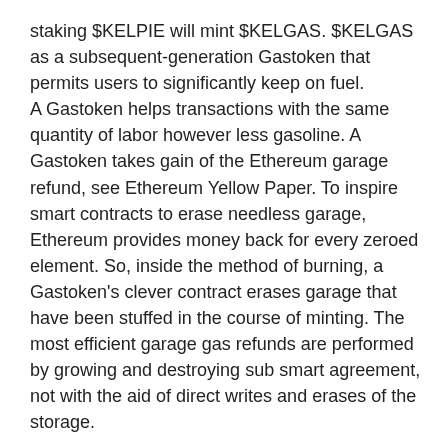staking $KELPIE will mint $KELGAS. $KELGAS as a subsequent-generation Gastoken that permits users to significantly keep on fuel. A Gastoken helps transactions with the same quantity of labor however less gasoline. A Gastoken takes gain of the Ethereum garage refund, see Ethereum Yellow Paper. To inspire smart contracts to erase needless garage, Ethereum provides money back for every zeroed element. So, inside the method of burning, a Gastoken's clever contract erases garage that have been stuffed in the course of minting. The most efficient garage gas refunds are performed by growing and destroying sub smart agreement, not with the aid of direct writes and erases of the storage.
To challenge: Dex Aggregator with 0x, 1inch, Uniswap, Sushi, Aave, Pancake change(BSC), matching fee of the